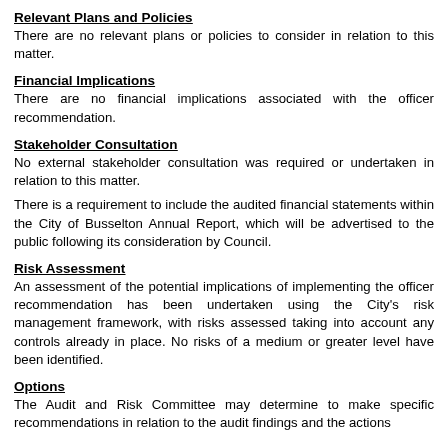Relevant Plans and Policies
There are no relevant plans or policies to consider in relation to this matter.
Financial Implications
There are no financial implications associated with the officer recommendation.
Stakeholder Consultation
No external stakeholder consultation was required or undertaken in relation to this matter.
There is a requirement to include the audited financial statements within the City of Busselton Annual Report, which will be advertised to the public following its consideration by Council.
Risk Assessment
An assessment of the potential implications of implementing the officer recommendation has been undertaken using the City's risk management framework, with risks assessed taking into account any controls already in place. No risks of a medium or greater level have been identified.
Options
The Audit and Risk Committee may determine to make specific recommendations in relation to the audit findings and the actions